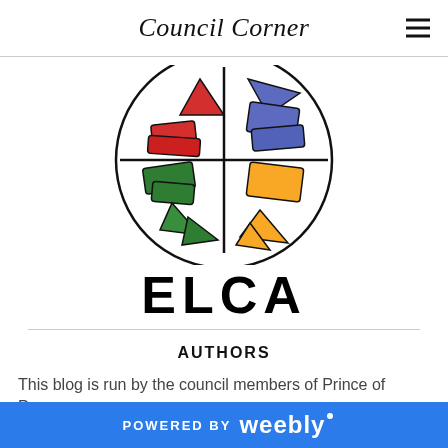Council Corner
[Figure (logo): ELCA logo: colorful stained-glass style circular design with red, blue, green, and yellow geometric shapes divided by a cross, with 'ELCA' text below in bold black letters]
AUTHORS
This blog is run by the council members of Prince of Peace
POWERED BY weebly